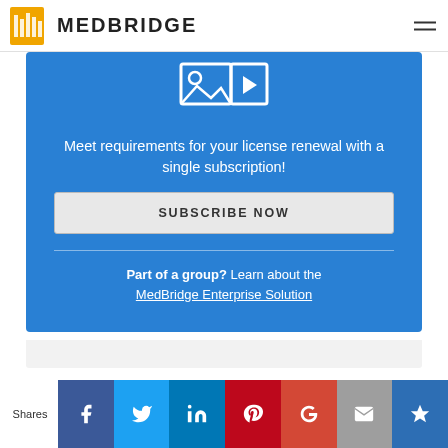MEDBRIDGE
[Figure (screenshot): MedBridge website screenshot showing a blue promotional banner with a media/video icon, subscription call-to-action text, Subscribe Now button, and social sharing bar at the bottom]
Meet requirements for your license renewal with a single subscription!
SUBSCRIBE NOW
Part of a group? Learn about the MedBridge Enterprise Solution